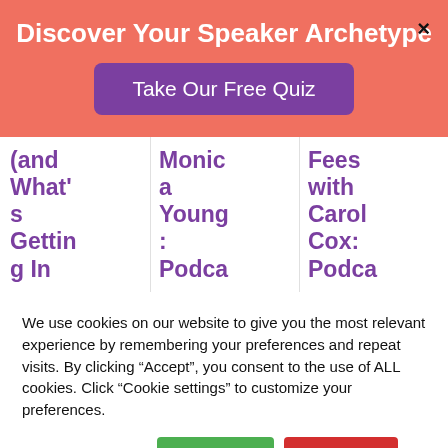Discover Your Speaker Archetype
Take Our Free Quiz
(and What's Getting In
Monica Young: Podca
Fees with Carol Cox: Podca
We use cookies on our website to give you the most relevant experience by remembering your preferences and repeat visits. By clicking "Accept", you consent to the use of ALL cookies. Click "Cookie settings" to customize your preferences.
Cookie settings
ACCEPT
REJECT